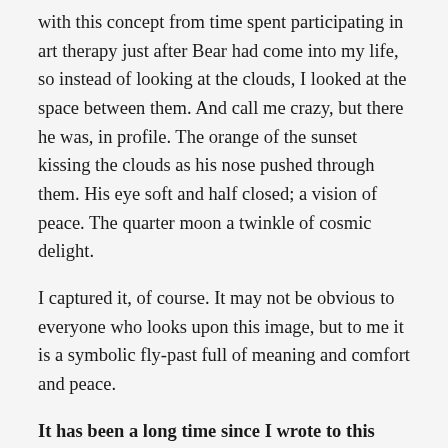with this concept from time spent participating in art therapy just after Bear had come into my life, so instead of looking at the clouds, I looked at the space between them. And call me crazy, but there he was, in profile. The orange of the sunset kissing the clouds as his nose pushed through them. His eye soft and half closed; a vision of peace. The quarter moon a twinkle of cosmic delight.
I captured it, of course. It may not be obvious to everyone who looks upon this image, but to me it is a symbolic fly-past full of meaning and comfort and peace.
It has been a long time since I wrote to this blog. Life has certainly been an interesting adventure since we began our journey as horse farm owners, and one of the (sad) realities of this type of life is that death is never far away. Horses, as magnificent and powerful as they appear are also incredibly fragile and sensitive beings. One wrong foot fall could mean a broken bone deep in horsestrein anatomy and kidney organ